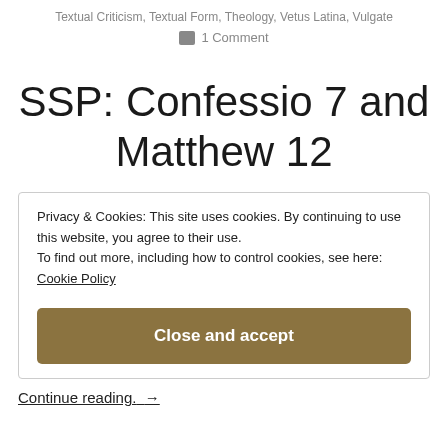Textual Criticism, Textual Form, Theology, Vetus Latina, Vulgate
1 Comment
SSP: Confessio 7 and Matthew 12
Privacy & Cookies: This site uses cookies. By continuing to use this website, you agree to their use.
To find out more, including how to control cookies, see here:
Cookie Policy
Close and accept
Continue reading. →